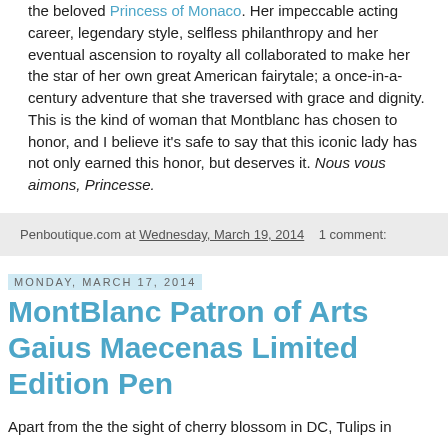the beloved Princess of Monaco. Her impeccable acting career, legendary style, selfless philanthropy and her eventual ascension to royalty all collaborated to make her the star of her own great American fairytale; a once-in-a-century adventure that she traversed with grace and dignity. This is the kind of woman that Montblanc has chosen to honor, and I believe it's safe to say that this iconic lady has not only earned this honor, but deserves it. Nous vous aimons, Princesse.
Penboutique.com at Wednesday, March 19, 2014   1 comment:
Monday, March 17, 2014
MontBlanc Patron of Arts Gaius Maecenas Limited Edition Pen
Apart from the the sight of cherry blossom in DC, Tulips in